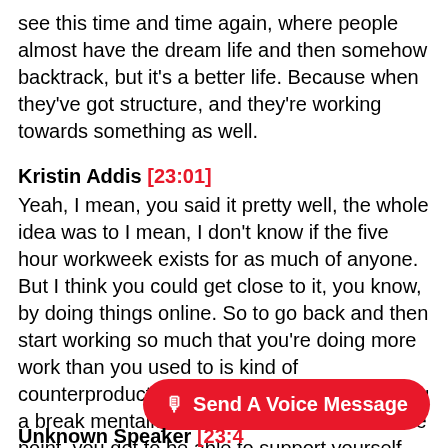see this time and time again, where people almost have the dream life and then somehow backtrack, but it's a better life. Because when they've got structure, and they're working towards something as well.
Kristin Addis [23:01] Yeah, I mean, you said it pretty well, the whole idea was to I mean, I don't know if the five hour workweek exists for as much of anyone. But I think you could get close to it, you know, by doing things online. So to go back and then start working so much that you're doing more work than you used to is kind of counterproductive, I guess, in the whole taking a break mentality. But I also think that at some point, you got to be able to support yourself, and it's better to work for yourself, then for others.
Send A Voice Message
Unknown Speaker [23:41]